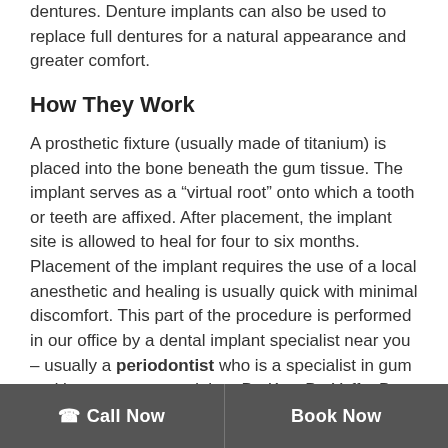dentures. Denture implants can also be used to replace full dentures for a natural appearance and greater comfort.
How They Work
A prosthetic fixture (usually made of titanium) is placed into the bone beneath the gum tissue. The implant serves as a “virtual root” onto which a tooth or teeth are affixed. After placement, the implant site is allowed to heal for four to six months. Placement of the implant requires the use of a local anesthetic and healing is usually quick with minimal discomfort. This part of the procedure is performed in our office by a dental implant specialist near you – usually a periodontist who is a specialist in gum and bone surgery, and then Dr. Kay, Dr. Yaffe, Dr. Berson,
Call Now | Book Now